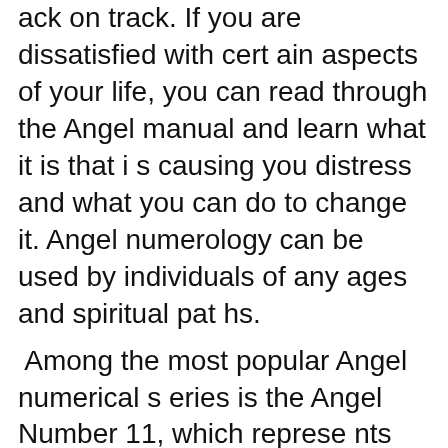ack on track. If you are dissatisfied with certain aspects of your life, you can read through the Angel manual and learn what it is that is causing you distress and what you can do to change it. Angel numerology can be used by individuals of any ages and spiritual paths.
Among the most popular Angel numerical series is the Angel Number 11, which represents excellence, abundance and success in love relationships. It is the Angel Number for Balance, which Angel readers say is the number most associated with enlightenment and peace. The Angel Number 11 stands for the number one, which represents life itself, which Angel readers state is the number for production. This mix of excellence, abundance and success makes this Angel top of the most